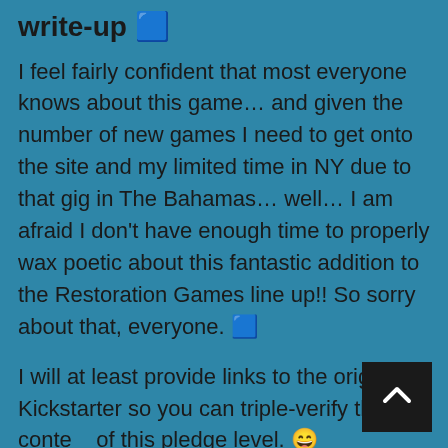write-up 🟦
I feel fairly confident that most everyone knows about this game… and given the number of new games I need to get onto the site and my limited time in NY due to that gig in The Bahamas… well… I am afraid I don't have enough time to properly wax poetic about this fantastic addition to the Restoration Games line up!! So sorry about that, everyone. 🟦
I will at least provide links to the original Kickstarter so you can triple-verify the content of this pledge level. 😄